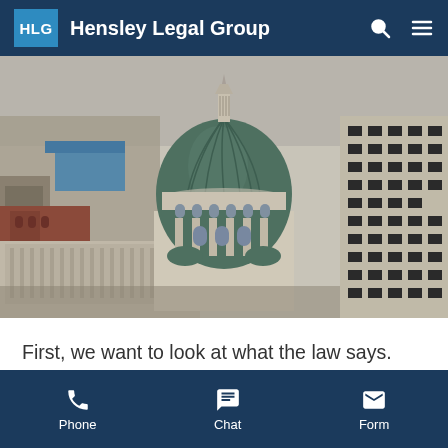Hensley Legal Group
[Figure (photo): Aerial view of Indianapolis city center featuring the Indiana State Capitol building with its green dome, surrounded by urban buildings]
First, we want to look at what the law says. Let's look beyond the city of Evansville to the laws that govern Indiana as a whole state.
Phone | Chat | Form